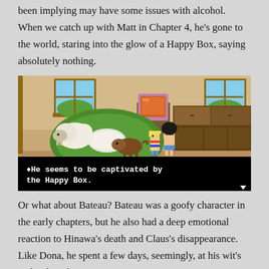been implying may have some issues with alcohol. When we catch up with Matt in Chapter 4, he's gone to the world, staring into the glow of a Happy Box, saying absolutely nothing.
[Figure (screenshot): Pixel-art game screenshot showing two characters standing in a room with furniture and sheep, with a dialog box at the bottom reading '♦He seems to be captivated by the Happy Box.' with a small arrow icon in the lower right.]
Or what about Bateau? Bateau was a goofy character in the early chapters, but he also had a deep emotional reaction to Hinawa's death and Claus's disappearance. Like Dona, he spent a few days, seemingly, at his wit's end, asking big questions